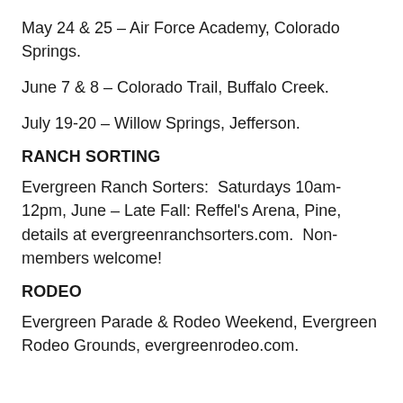May 24 & 25 – Air Force Academy, Colorado Springs.
June 7 & 8 – Colorado Trail, Buffalo Creek.
July 19-20 – Willow Springs, Jefferson.
RANCH SORTING
Evergreen Ranch Sorters:  Saturdays 10am-12pm, June – Late Fall: Reffel's Arena, Pine, details at evergreenranchsorters.com.  Non-members welcome!
RODEO
Evergreen Parade & Rodeo Weekend, Evergreen Rodeo Grounds, evergreenrodeo.com.